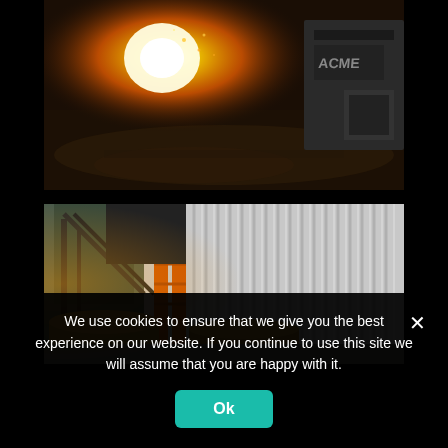[Figure (photo): Dark industrial scene showing a bright fire or intense light source illuminating scattered debris on the ground near what appears to be a truck or industrial vehicle. The scene is dramatic with warm orange tones.]
[Figure (photo): Industrial interior showing metal stairs/railing structure, an orange ladder, large circular barrels or tanks in the foreground, and corrugated metal walls. Warm industrial lighting.]
We use cookies to ensure that we give you the best experience on our website. If you continue to use this site we will assume that you are happy with it.